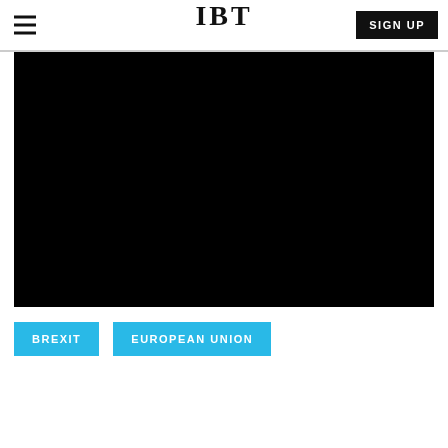IBT
[Figure (photo): Large black image, likely a video player or photo placeholder]
BREXIT
EUROPEAN UNION